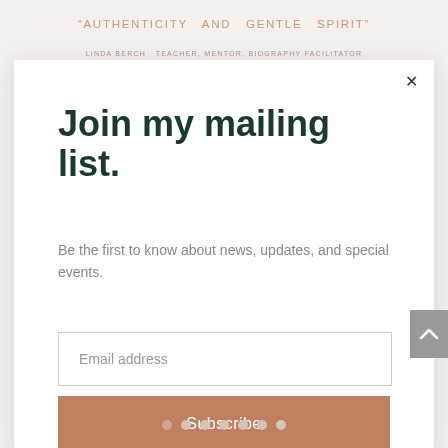"AUTHENTICITY AND GENTLE SPIRIT"
LINDA BERCH TEACHER, MENTOR, BIOGRAPHY FACILITATOR
Join my mailing list.
Be the first to know about news, updates, and special events.
Email address
Subscribe